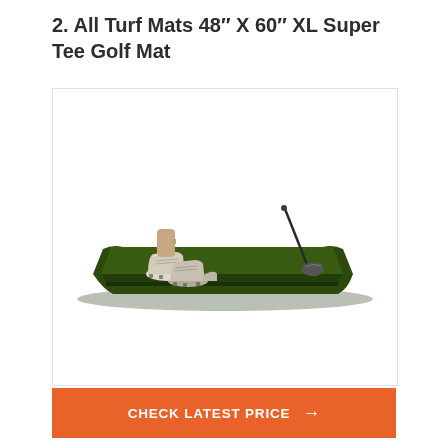2. All Turf Mats 48" X 60" XL Super Tee Golf Mat
[Figure (photo): A large rectangular dark green golf practice mat shown from a slight angle. A person wearing white golf shoes stands on the left side of the mat. A golf driver club head is positioned on the right side of the mat, ready to strike a ball. The mat has short artificial turf texture.]
CHECK LATEST PRICE →